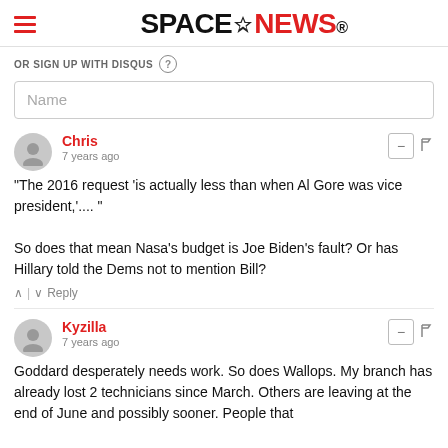SpaceNews
OR SIGN UP WITH DISQUS
Name
Chris
7 years ago
"The 2016 request 'is actually less than when Al Gore was vice president,'.... "

So does that mean Nasa's budget is Joe Biden's fault? Or has Hillary told the Dems not to mention Bill?
Kyzilla
7 years ago
Goddard desperately needs work. So does Wallops. My branch has already lost 2 technicians since March. Others are leaving at the end of June and possibly sooner. People that have been around for 15 or so. Tells a lot about that talent drain everyone talks about.